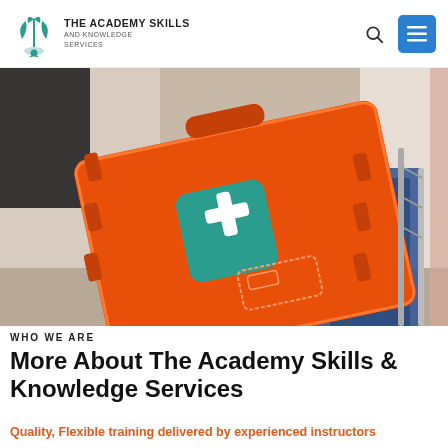THE ACADEMY SKILLS AND KNOWLEDGE SERVICES
[Figure (photo): Person holding an orange first aid kit/case with a teal and white medical cross symbol on it, wearing jeans, in a hallway environment.]
WHO WE ARE
More About The Academy Skills & Knowledge Services
Quality, Flexible training delivered by experienced instructors